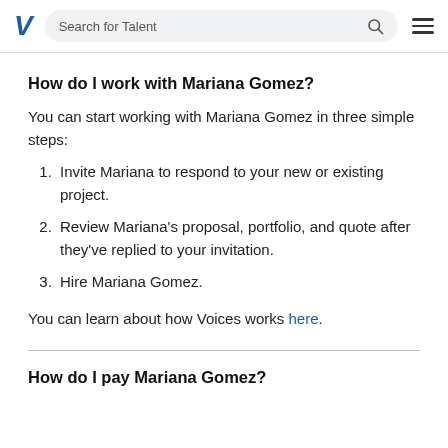Search for Talent
How do I work with Mariana Gomez?
You can start working with Mariana Gomez in three simple steps:
Invite Mariana to respond to your new or existing project.
Review Mariana's proposal, portfolio, and quote after they've replied to your invitation.
Hire Mariana Gomez.
You can learn about how Voices works here.
How do I pay Mariana Gomez?